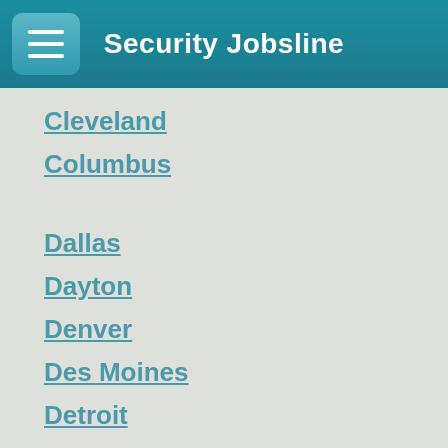Security Jobsline
Cleveland
Columbus
Dallas
Dayton
Denver
Des Moines
Detroit
El Paso
Fargo
Fort Lauderdale